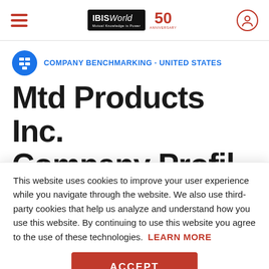IBISWorld 50th Anniversary — Navigation bar
COMPANY BENCHMARKING · UNITED STATES
Mtd Products Inc.
This website uses cookies to improve your user experience while you navigate through the website. We also use third-party cookies that help us analyze and understand how you use this website. By continuing to use this website you agree to the use of these technologies. LEARN MORE
ACCEPT